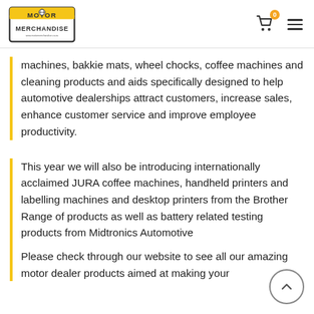Motor Merchandise logo, cart icon with badge 0, hamburger menu
machines, bakkie mats, wheel chocks, coffee machines and cleaning products and aids specifically designed to help automotive dealerships attract customers, increase sales, enhance customer service and improve employee productivity.
This year we will also be introducing internationally acclaimed JURA coffee machines, handheld printers and labelling machines and desktop printers from the Brother Range of products as well as battery related testing products from Midtronics Automotive
Please check through our website to see all our amazing motor dealer products aimed at making your